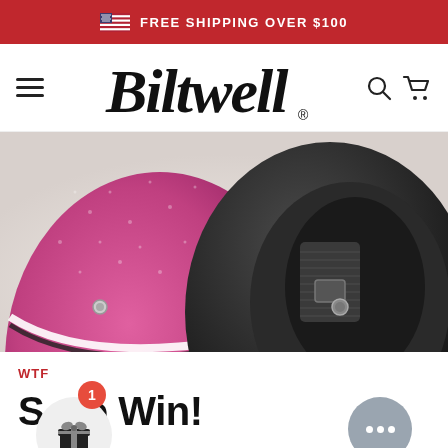FREE SHIPPING OVER $100
[Figure (logo): Biltwell script logo in navigation bar]
[Figure (photo): Close-up of pink/magenta and black motorcycle helmets showing interior padding and chin strap hardware]
WTF
S…o Win!
September 27, 2010